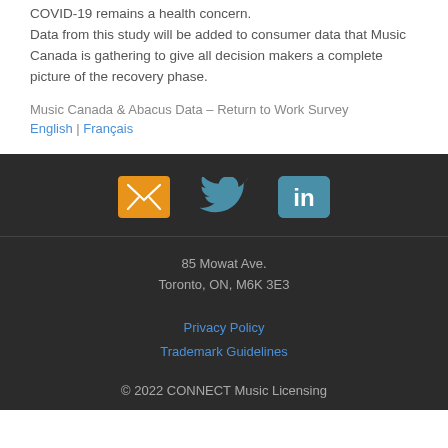COVID-19 remains a health concern. Data from this study will be added to consumer data that Music Canada is gathering to give all decision makers a complete picture of the recovery phase.
Music Canada & Abacus Data – Return to Work Survey
English | Français
[Figure (illustration): Footer icons: email (orange envelope), Twitter (blue bird), LinkedIn (teal square with 'in')]
85 Mowat Ave.
Toronto, ON, M6K 3E3
Privacy Policy
Trademark Guidelines
© 2022 CONNECT Music Licensing